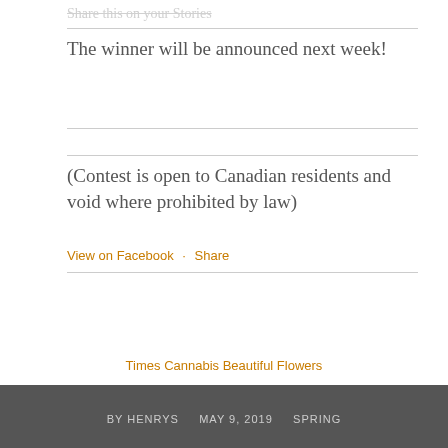Share this on your Stories
The winner will be announced next week!
(Contest is open to Canadian residents and void where prohibited by law)
View on Facebook · Share
Times Cannabis Beautiful Flowers
BY HENRYS   MAY 9, 2019   SPRING